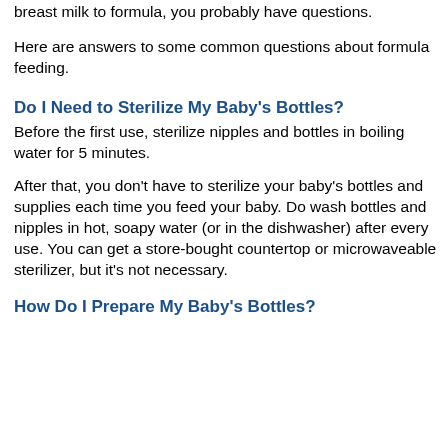breast milk to formula, you probably have questions.
Here are answers to some common questions about formula feeding.
Do I Need to Sterilize My Baby's Bottles?
Before the first use, sterilize nipples and bottles in boiling water for 5 minutes.
After that, you don't have to sterilize your baby's bottles and supplies each time you feed your baby. Do wash bottles and nipples in hot, soapy water (or in the dishwasher) after every use. You can get a store-bought countertop or microwaveable sterilizer, but it's not necessary.
How Do I Prepare My Baby's Bottles?